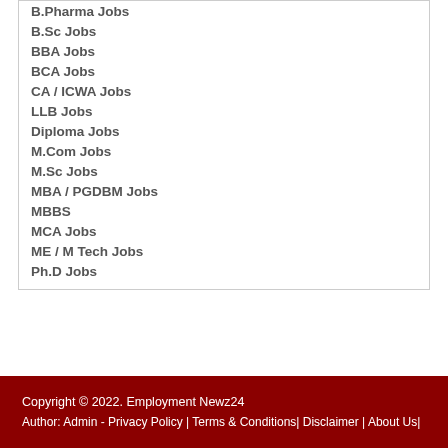B.Pharma Jobs
B.Sc Jobs
BBA Jobs
BCA Jobs
CA / ICWA Jobs
LLB Jobs
Diploma Jobs
M.Com Jobs
M.Sc Jobs
MBA / PGDBM Jobs
MBBS
MCA Jobs
ME / M Tech Jobs
Ph.D Jobs
Copyright © 2022. Employment Newz24   Author: Admin - Privacy Policy | Terms & Conditions| Disclaimer | About Us|